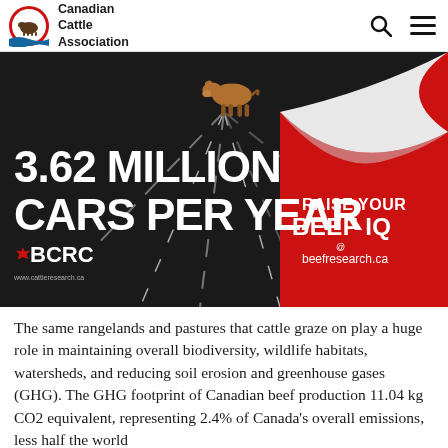Canadian Cattle Association
[Figure (infographic): Advertisement graphic showing a cow on a dark road with peeling corner design. Large white bold text reads '3.62 MILLION CARS PER YEAR'. BCRC logo bottom left. Red section with 'RAISE YOUR BEEF IQ @ beefresearch.ca' text on right side.]
The same rangelands and pastures that cattle graze on play a huge role in maintaining overall biodiversity, wildlife habitats, watersheds, and reducing soil erosion and greenhouse gases (GHG). The GHG footprint of Canadian beef production 11.04 kg CO2 equivalent, representing 2.4% of Canada's overall emissions, less half the world